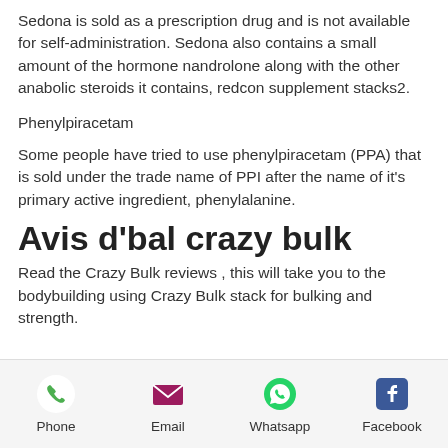Sedona is sold as a prescription drug and is not available for self-administration. Sedona also contains a small amount of the hormone nandrolone along with the other anabolic steroids it contains, redcon supplement stacks2.
Phenylpiracetam
Some people have tried to use phenylpiracetam (PPA) that is sold under the trade name of PPI after the name of it's primary active ingredient, phenylalanine.
Avis d'bal crazy bulk
Read the Crazy Bulk reviews , this will take you to the bodybuilding using Crazy Bulk stack for bulking and strength.
Phone  Email  Whatsapp  Facebook